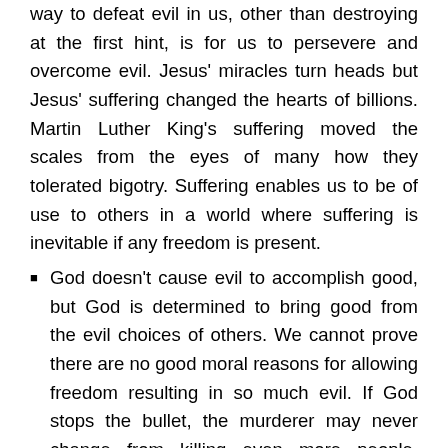way to defeat evil in us, other than destroying at the first hint, is for us to persevere and overcome evil. Jesus' miracles turn heads but Jesus' suffering changed the hearts of billions. Martin Luther King's suffering moved the scales from the eyes of many how they tolerated bigotry. Suffering enables us to be of use to others in a world where suffering is inevitable if any freedom is present.
God doesn't cause evil to accomplish good, but God is determined to bring good from the evil choices of others. We cannot prove there are no good moral reasons for allowing freedom resulting in so much evil. If God stops the bullet, the murderer may never change from killing even more people. Instant justice doesn't allow God to save as many people as possible by changing of their own free will. God clearly values mercy and forgiveness